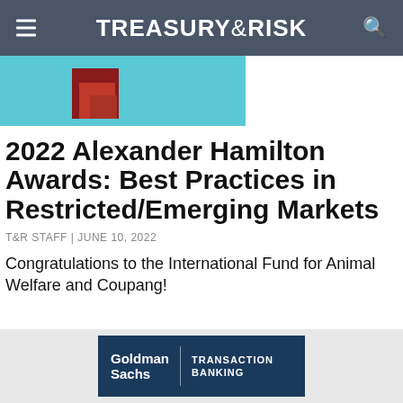TREASURY&RISK
[Figure (illustration): Stacked red bar chart graphic on a light blue background, partially cropped]
2022 Alexander Hamilton Awards: Best Practices in Restricted/Emerging Markets
T&R STAFF | JUNE 10, 2022
Congratulations to the International Fund for Animal Welfare and Coupang!
[Figure (logo): Goldman Sachs Transaction Banking advertisement banner]